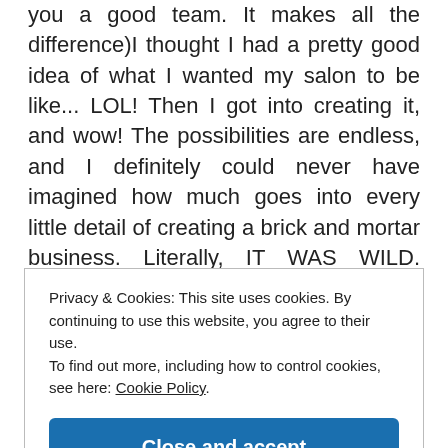you a good team. It makes all the difference)I thought I had a pretty good idea of what I wanted my salon to be like... LOL! Then I got into creating it, and wow! The possibilities are endless, and I definitely could never have imagined how much goes into every little detail of creating a brick and mortar business. Literally, IT WAS WILD. Actually, it still is wild, cuz business ownership and entrepreneurship is not for the faint of heart and it is also the most rewarding thing I've ever done. So,
Privacy & Cookies: This site uses cookies. By continuing to use this website, you agree to their use.
To find out more, including how to control cookies, see here: Cookie Policy
Close and accept